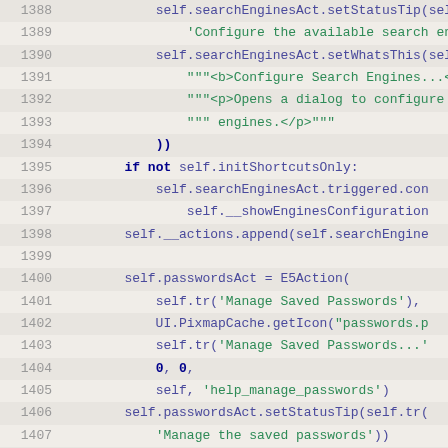[Figure (screenshot): Source code listing showing Python code lines 1388-1414, with line numbers on the left and syntax-highlighted code on the right. Alternating light gray and beige background rows. Keywords in bold dark blue, strings in green, self references in blue-purple, numeric literals in bold dark blue.]